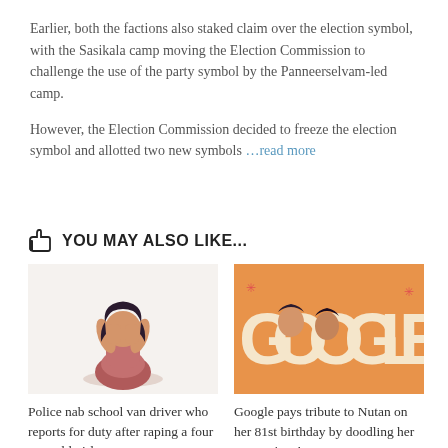Earlier, both the factions also staked claim over the election symbol, with the Sasikala camp moving the Election Commission to challenge the use of the party symbol by the Panneerselvam-led camp.
However, the Election Commission decided to freeze the election symbol and allotted two new symbols …read more
YOU MAY ALSO LIKE...
[Figure (illustration): Illustration of a girl sitting with hands covering her face, wearing a pink/red outfit]
Police nab school van driver who reports for duty after raping a four year old girl
[Figure (illustration): Google Doodle on orange background with GOOGLE letters and women's faces illustrated within the letters]
Google pays tribute to Nutan on her 81st birthday by doodling her expressions!